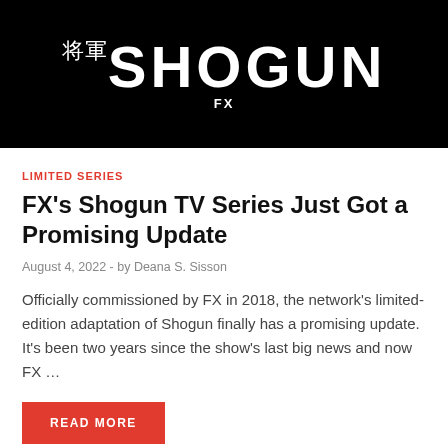[Figure (logo): Shogun FX TV series logo on black background with Japanese kanji characters and large white stylized SHOGUN text with FX below]
LIMITED SERIES
FX's Shogun TV Series Just Got a Promising Update
August 4, 2022  -  by Deana S. Sisson
Officially commissioned by FX in 2018, the network's limited-edition adaptation of Shogun finally has a promising update. It's been two years since the show's last big news and now FX …
READ MORE